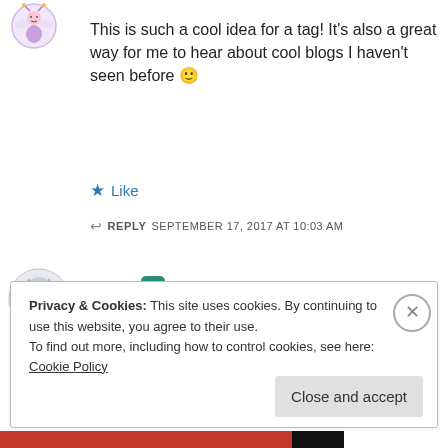[Figure (illustration): Small avatar icon of a fairy/angel figure at top left]
This is such a cool idea for a tag! It's also a great way for me to hear about cool blogs I haven't seen before 🙂
★ Like
↩ REPLY   SEPTEMBER 17, 2017 AT 10:03 AM
[Figure (illustration): Avatar icon of an owl reading a book (Birdie avatar)]
Birdie ✏
I thought it was awesome too. A great way to spread the word!
Privacy & Cookies: This site uses cookies. By continuing to use this website, you agree to their use.
To find out more, including how to control cookies, see here: Cookie Policy